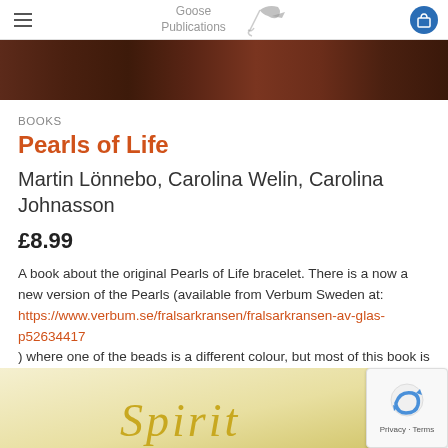Goose Publications
[Figure (photo): Dark brown textured background image (animal fur or bark)]
BOOKS
Pearls of Life
Martin Lönnebo, Carolina Welin, Carolina Johnasson
£8.99
A book about the original Pearls of Life bracelet. There is a now a new version of the Pearls (available from Verbum Sweden at: https://www.verbum.se/fralsarkransen/fralsarkransen-av-glas-p52634417 ) where one of the beads is a different colour, but most of this book is still relevant.
[Figure (photo): Partial view of a book cover with yellow/golden background and italic script text reading 'Spirit']
[Figure (other): reCAPTCHA badge with Privacy and Terms links]